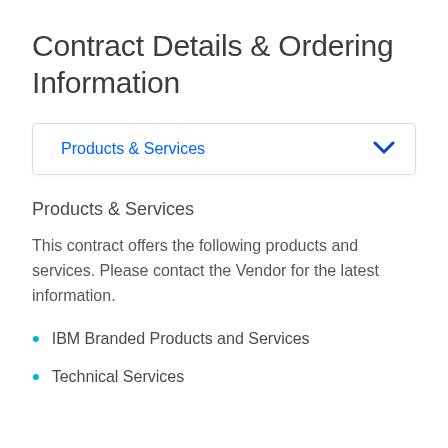Contract Details & Ordering Information
[Figure (other): Accordion UI element with label 'Products & Services' and a blue chevron dropdown indicator]
Products & Services
This contract offers the following products and services. Please contact the Vendor for the latest information.
IBM Branded Products and Services
Technical Services